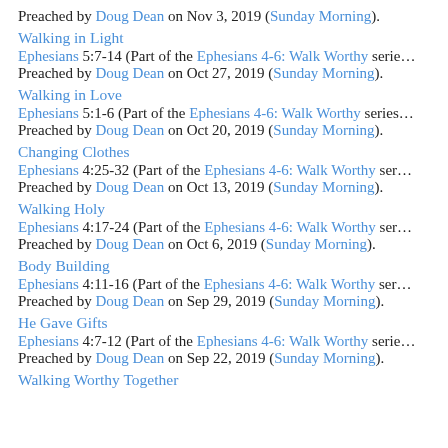Preached by Doug Dean on Nov 3, 2019 (Sunday Morning).
Walking in Light
Ephesians 5:7-14 (Part of the Ephesians 4-6: Walk Worthy series). Preached by Doug Dean on Oct 27, 2019 (Sunday Morning).
Walking in Love
Ephesians 5:1-6 (Part of the Ephesians 4-6: Walk Worthy series). Preached by Doug Dean on Oct 20, 2019 (Sunday Morning).
Changing Clothes
Ephesians 4:25-32 (Part of the Ephesians 4-6: Walk Worthy series). Preached by Doug Dean on Oct 13, 2019 (Sunday Morning).
Walking Holy
Ephesians 4:17-24 (Part of the Ephesians 4-6: Walk Worthy series). Preached by Doug Dean on Oct 6, 2019 (Sunday Morning).
Body Building
Ephesians 4:11-16 (Part of the Ephesians 4-6: Walk Worthy series). Preached by Doug Dean on Sep 29, 2019 (Sunday Morning).
He Gave Gifts
Ephesians 4:7-12 (Part of the Ephesians 4-6: Walk Worthy series). Preached by Doug Dean on Sep 22, 2019 (Sunday Morning).
Walking Worthy Together